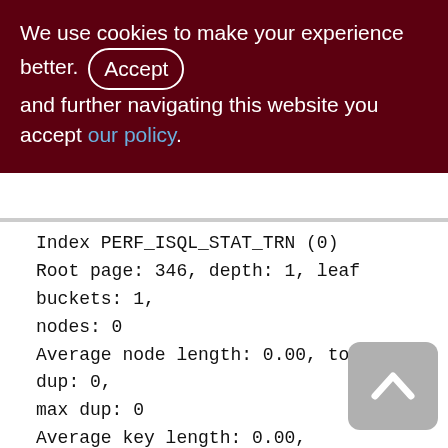We use cookies to make your experience better. By accepting and further navigating this website you accept our policy.
Index PERF_ISQL_STAT_TRN (0)
Root page: 346, depth: 1, leaf buckets: 1, nodes: 0
Average node length: 0.00, total dup: 0, max dup: 0
Average key length: 0.00, compression ratio: 0.00
Average prefix length: 0.00, average data length: 0.00
Clustering factor: 0, ratio: 0.00
Fill distribution:
[Figure (other): Back to top button - rounded rectangle with upward chevron arrow]